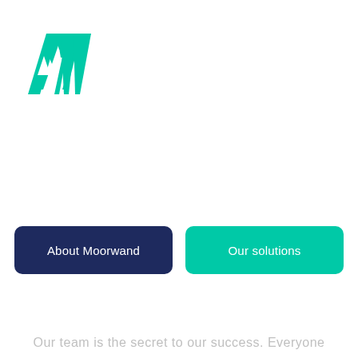[Figure (logo): Moorwand logo: stylized 'AV' letters in teal/turquoise color]
[Figure (other): Dark navy blue rounded rectangle button labeled 'About Moorwand' in white text]
[Figure (other): Teal/turquoise rounded rectangle button labeled 'Our solutions' in white text]
Our team is the secret to our success. Everyone